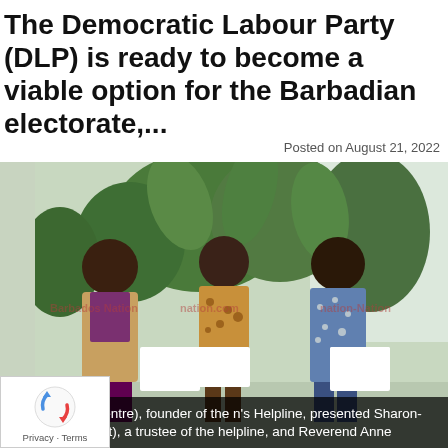The Democratic Labour Party (DLP) is ready to become a viable option for the Barbadian electorate,...
Posted on August 21, 2022
[Figure (photo): Three women standing together indoors in front of green tropical plants, smiling and holding white envelopes. The woman on the left wears a tan blazer and purple outfit, the woman in the centre wears a leopard-print top, and the woman on the right wears a blue floral dress. A Barbados Nation watermark is visible across the image.]
arshall-Harris (centre), founder of the n's Helpline, presented Sharon-Rose Gittens (left), a trustee of the helpline, and Reverend Anne